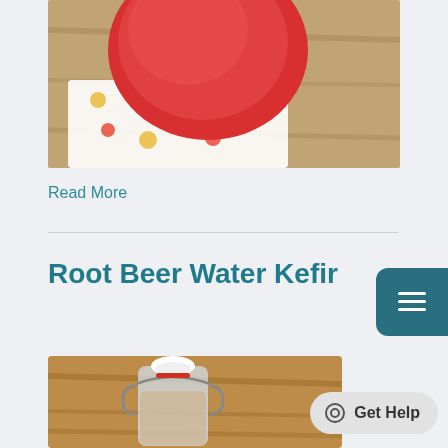[Figure (photo): Photo of red tomatoes or fruit on a colorful polka-dot cloth on a wooden surface, partially cropped at top]
Read More
Root Beer Water Kefir
[Figure (photo): Close-up photo of a glass swing-top bottle with a white ceramic stopper and red rubber seal, on a wooden surface]
Get Help